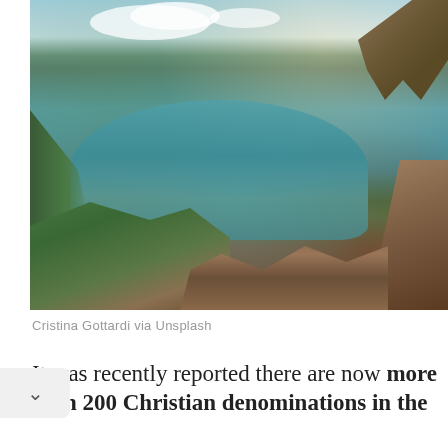[Figure (photo): Aerial/elevated view of a large alpine lake surrounded by mountains with green forested slopes, autumn foliage in foreground (orange/brown), rocky cliff on right, tree branches upper right, cloudy blue sky. Photo credit: Cristina Gottardi via Unsplash.]
Cristina Gottardi via Unsplash
It was recently reported there are now more than 200 Christian denominations in the